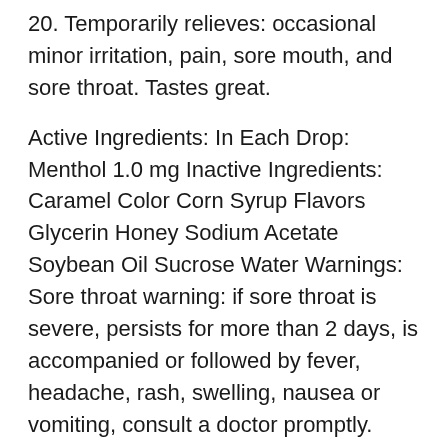20. Temporarily relieves: occasional minor irritation, pain, sore mouth, and sore throat. Tastes great.
Active Ingredients: In Each Drop: Menthol 1.0 mg Inactive Ingredients: Caramel Color Corn Syrup Flavors Glycerin Honey Sodium Acetate Soybean Oil Sucrose Water Warnings: Sore throat warning: if sore throat is severe, persists for more than 2 days, is accompanied or followed by fever, headache, rash, swelling, nausea or vomiting, consult a doctor promptly. These may be serious. Stop use and ask a doctor if: sore mouth does not improve in 7 days irritation, pain or redness persists or worsens. If pregnant or breast-feeding, ask a doctor before use. Keep out of reach of children. Luden's Sore Throat Drops, Honey Licorice, 20 Ct